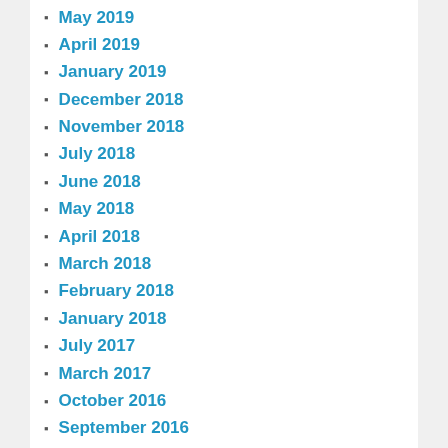May 2019
April 2019
January 2019
December 2018
November 2018
July 2018
June 2018
May 2018
April 2018
March 2018
February 2018
January 2018
July 2017
March 2017
October 2016
September 2016
May 2016
April 2016
December 2015
October 2015
August 2015
May 2015